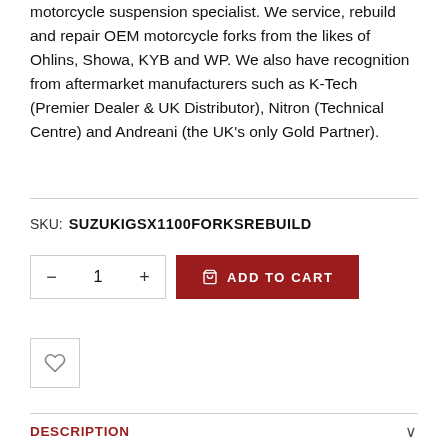motorcycle suspension specialist. We service, rebuild and repair OEM motorcycle forks from the likes of Ohlins, Showa, KYB and WP. We also have recognition from aftermarket manufacturers such as K-Tech (Premier Dealer & UK Distributor), Nitron (Technical Centre) and Andreani (the UK's only Gold Partner).
SKU: SUZUKIGSX1100FORKSREBUILD
[Figure (other): Add to cart widget with quantity selector (minus button, quantity input showing 1, plus button) and a dark red ADD TO CART button with shopping bag icon]
[Figure (other): Wishlist button: a square outlined box containing a heart icon]
DESCRIPTION